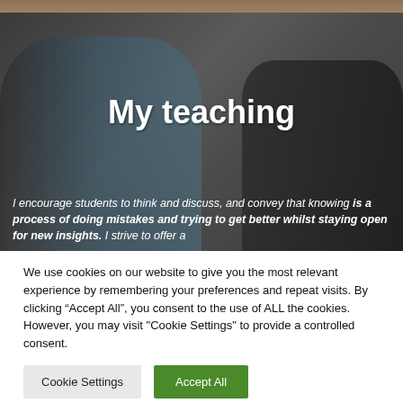[Figure (photo): Narrow decorative strip at top showing a partial view of a heritage or outdoor scene with warm tones]
[Figure (photo): Hero image showing students in a classroom setting, partially darkened, with three people visible looking upward or forward]
My teaching
I encourage students to think and discuss, and convey that knowing is a process of doing mistakes and trying to get better whilst staying open for new insights. I strive to offer a
We use cookies on our website to give you the most relevant experience by remembering your preferences and repeat visits. By clicking “Accept All”, you consent to the use of ALL the cookies. However, you may visit "Cookie Settings" to provide a controlled consent.
Cookie Settings
Accept All